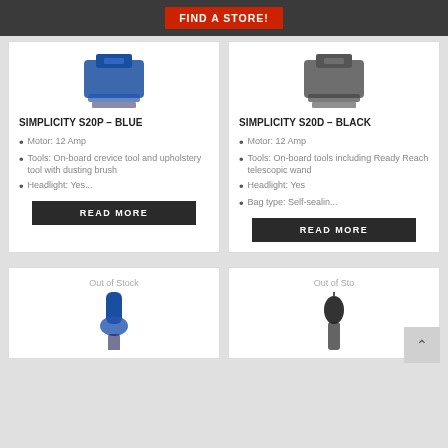FIND A STORE!
[Figure (photo): Blue upright vacuum cleaner - Simplicity S20P top view]
SIMPLICITY S20P – BLUE
Motor: 12 Amp
Tools: On-board crevice tool and upholstery tool with dusting brush
Headlight: Yes...
READ MORE
[Figure (photo): Black upright vacuum cleaner - Simplicity S20D top view]
SIMPLICITY S20D – BLACK
Motor: 12 Amp
Tools: On-board tools including Ready Reach telescopic wand
Headlight: Yes
Bag type: Self-sealin...
READ MORE
Out of Stock
[Figure (photo): Blue vacuum cleaner bottom card]
Out of Sto
[Figure (photo): Black vacuum cleaner bottom card]